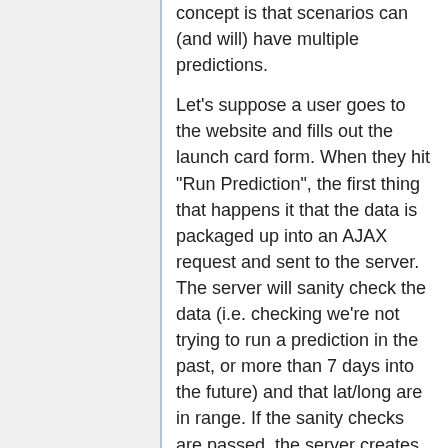concept is that scenarios can (and will) have multiple predictions.
Let's suppose a user goes to the website and fills out the launch card form. When they hit "Run Prediction", the first thing that happens it that the data is packaged up into an AJAX request and sent to the server. The server will sanity check the data (i.e. checking we're not trying to run a prediction in the past, or more than 7 days into the future) and that lat/long are in range. If the sanity checks are passed, the server creates a scenario in the 'predict/preds/' directory. The scenario name is an SHA1 hash of the launch parameters, we call this a UUID (universally unique identifier) -- the reasoning for this will become clear. Following this, the server returns the UUID to the client and creates.